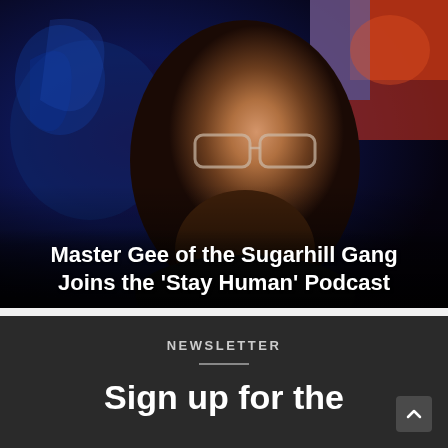[Figure (photo): A man wearing glasses and smiling, filmed against a colorful painted background. White bold text overlay reads: Master Gee of the Sugarhill Gang Joins the 'Stay Human' Podcast]
Master Gee of the Sugarhill Gang Joins the ‘Stay Human’ Podcast
NEWSLETTER
Sign up for the